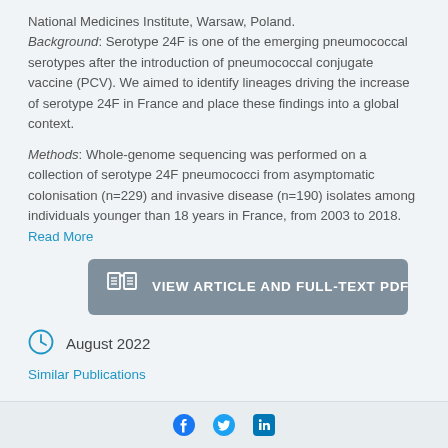National Medicines Institute, Warsaw, Poland. Background: Serotype 24F is one of the emerging pneumococcal serotypes after the introduction of pneumococcal conjugate vaccine (PCV). We aimed to identify lineages driving the increase of serotype 24F in France and place these findings into a global context.
Methods: Whole-genome sequencing was performed on a collection of serotype 24F pneumococci from asymptomatic colonisation (n=229) and invasive disease (n=190) isolates among individuals younger than 18 years in France, from 2003 to 2018. Read More
[Figure (other): Button: VIEW ARTICLE AND FULL-TEXT PDF with book/document icon]
August 2022
Similar Publications
[Figure (other): Social share bar with Facebook, Twitter, and LinkedIn icons]